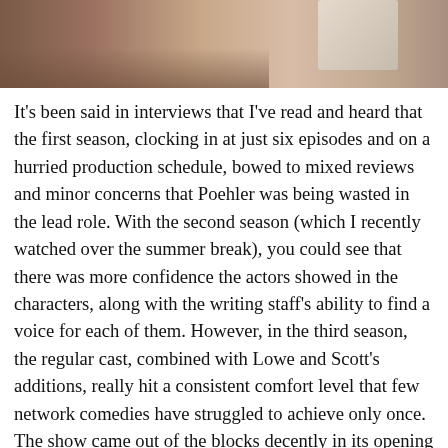[Figure (photo): Close-up photo of hands on a surface, with a woven or mesh object visible in the upper right area. The background appears to be a light-colored floor or table.]
It's been said in interviews that I've read and heard that the first season, clocking in at just six episodes and on a hurried production schedule, bowed to mixed reviews and minor concerns that Poehler was being wasted in the lead role. With the second season (which I recently watched over the summer break), you could see that there was more confidence the actors showed in the characters, along with the writing staff's ability to find a voice for each of them. However, in the third season, the regular cast, combined with Lowe and Scott's additions, really hit a consistent comfort level that few network comedies have struggled to achieve only once. The show came out of the blocks decently in its opening episode titled "Go Big or Go Home," but really found their stride with the following episode "Flu Season," which found most of the cast together at the Pawnee hospital enduring a debilitating virus. This pseudo "bottle episode" strategy of bringing all parties together (and putting the remaining people in the secondary storyline) either for an ep or a scene was a well the creative team went to